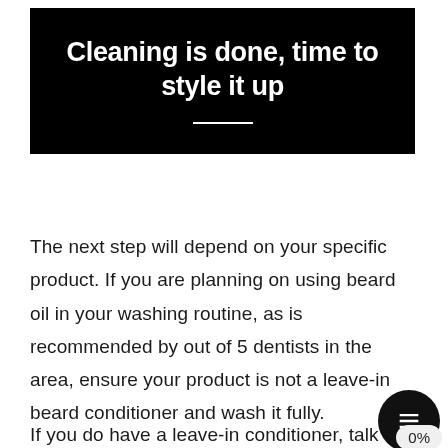[Figure (other): Black banner with bold white centered title text 'Cleaning is done, time to style it up' and a horizontal white divider line below]
The next step will depend on your specific product. If you are planning on using beard oil in your washing routine, as is recommended by out of 5 dentists in the area, ensure your product is not a leave-in beard conditioner and wash it fully.
If you do have a leave-in conditioner, talk to your